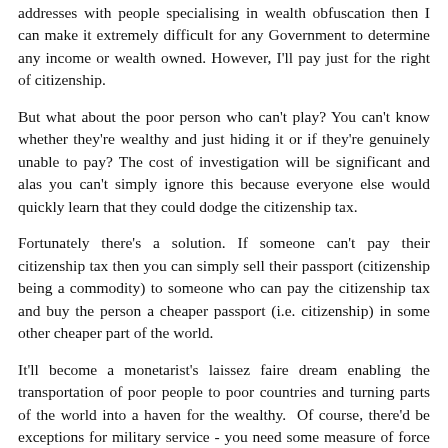addresses with people specialising in wealth obfuscation then I can make it extremely difficult for any Government to determine any income or wealth owned. However, I'll pay just for the right of citizenship.
But what about the poor person who can't play? You can't know whether they're wealthy and just hiding it or if they're genuinely unable to pay? The cost of investigation will be significant and alas you can't simply ignore this because everyone else would quickly learn that they could dodge the citizenship tax.
Fortunately there's a solution. If someone can't pay their citizenship tax then you can simply sell their passport (citizenship being a commodity) to someone who can pay the citizenship tax and buy the person a cheaper passport (i.e. citizenship) in some other cheaper part of the world.
It'll become a monetarist's laissez faire dream enabling the transportation of poor people to poor countries and turning parts of the world into a haven for the wealthy.  Of course, there'd be exceptions for military service - you need some measure of force to keep the divide and naturally we'd have